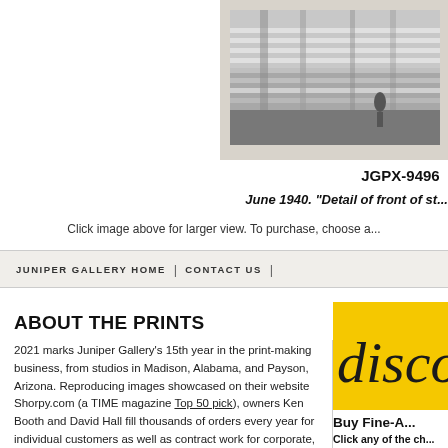[Figure (photo): Black and white photograph showing detail of front of structure with wooden beams and scaffolding, June 1940]
JGPX-9496
June 1940. "Detail of front of st..."
Click image above for larger view. To purchase, choose a...
JUNIPER GALLERY HOME | CONTACT US |
ABOUT THE PRINTS
2021 marks Juniper Gallery's 15th year in the print-making business, from studios in Madison, Alabama, and Payson, Arizona. Reproducing images showcased on their website Shorpy.com (a TIME magazine Top 50 pick), owners Ken Booth and David Hall fill thousands of orders every year for individual customers as well as contract work for corporate, institutional and government clients. Our prints are made in-
[Figure (other): Yellow discount banner with italic text 'disco...' partially visible]
Buy Fine-A...
Click any of the ch...
ADD to CART